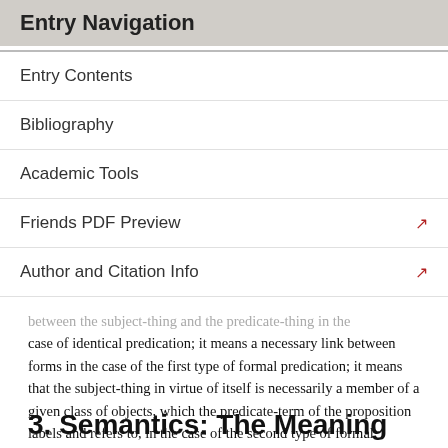Entry Navigation
Entry Contents
Bibliography
Academic Tools
Friends PDF Preview
Author and Citation Info
between the subject-thing and the predicate-thing in the case of identical predication; it means a necessary link between forms in the case of the first type of formal predication; it means that the subject-thing in virtue of itself is necessarily a member of a given class of objects, which the predicate-term of the proposition labels and refers to, in the case of the second type of formal predication—that is, when the predicate is a term of second intention.
3. Semantics: The Meaning